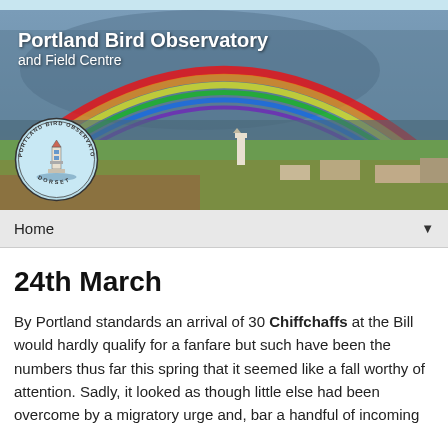[Figure (photo): Banner photograph of Portland Bill landscape with a rainbow arching over green fields and the sea, with a lighthouse visible in the middle distance. Overlaid with the text 'Portland Bird Observatory and Field Centre' and a circular logo for the Portland Bird Observatory, Dorset.]
Home ▼
24th March
By Portland standards an arrival of 30 Chiffchaffs at the Bill would hardly qualify for a fanfare but such have been the numbers thus far this spring that it seemed like a fall worthy of attention. Sadly, it looked as though little else had been overcome by a migratory urge and, bar a handful of incoming